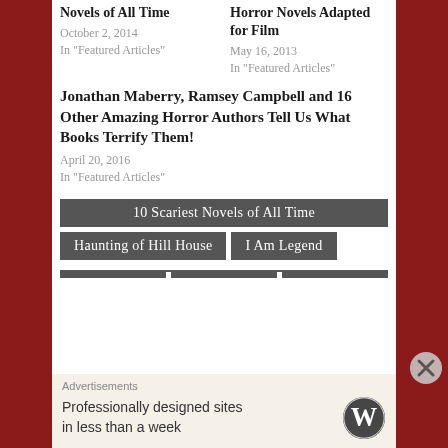Novels of All Time
October 2, 2014
In "Featured Articles"
Horror Novels Adapted for Film
May 16, 2013
In "Featured Articles"
Jonathan Maberry, Ramsey Campbell and 16 Other Amazing Horror Authors Tell Us What Books Terrify Them!
April 20, 2016
In "Featured Articles"
10 Scariest Novels of All Time
Haunting of Hill House
I Am Legend
Advertisements
Professionally designed sites in less than a week